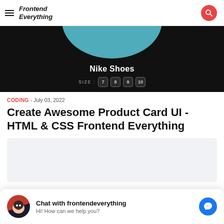Frontend Everything
[Figure (screenshot): Nike Shoes product card UI on dark background showing shoe image, 'Nike Shoes' title, and size selector with options 7, 8, 9, 10]
CODING - July 03, 2022
Create Awesome Product Card UI - HTML & CSS Frontend Everything
[Figure (other): Advertisement placeholder block (light gray)]
Chat with frontendeverything
Hi! How can we help you?